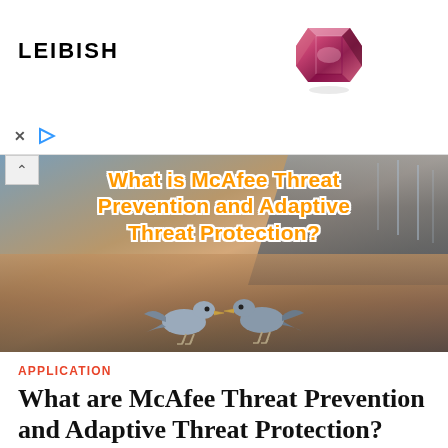[Figure (photo): Leibish jewelry advertisement banner with a pink/red gemstone (emerald cut) on the right side and 'LEIBISH' text on the left, with ad control icons (X and play button) below.]
[Figure (photo): Hero banner image showing two seagulls standing on a beach/waterfront with a marina of boats in the background at sunset/dusk. Overlaid text reads: 'What is McAfee Threat Prevention and Adaptive Threat Protection?' in orange/yellow with white outline.]
APPLICATION
What are McAfee Threat Prevention and Adaptive Threat Protection?
by ÖMER  0
McAfee's Threat Prevention product is known as McAfee antivirus. McAfee Threat Prevention generally